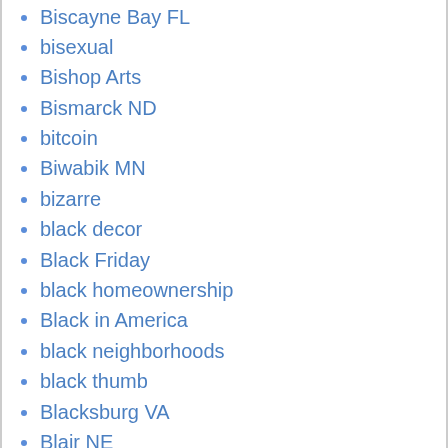Biscayne Bay FL
bisexual
Bishop Arts
Bismarck ND
bitcoin
Biwabik MN
bizarre
black decor
Black Friday
black homeownership
Black in America
black neighborhoods
black thumb
Blacksburg VA
Blair NE
blankets
blinds
bloggers
Bloomfield Hills MI